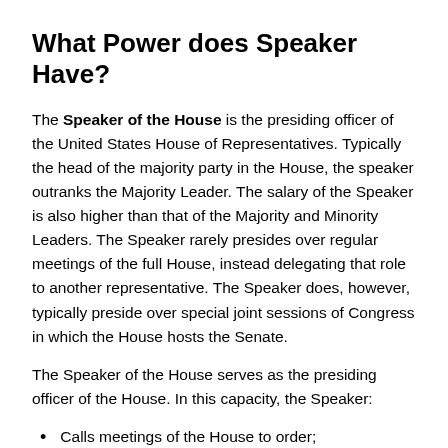What Power does Speaker Have?
The Speaker of the House is the presiding officer of the United States House of Representatives. Typically the head of the majority party in the House, the speaker outranks the Majority Leader. The salary of the Speaker is also higher than that of the Majority and Minority Leaders. The Speaker rarely presides over regular meetings of the full House, instead delegating that role to another representative. The Speaker does, however, typically preside over special joint sessions of Congress in which the House hosts the Senate.
The Speaker of the House serves as the presiding officer of the House. In this capacity, the Speaker:
Calls meetings of the House to order;
Administers the oath of office to new members;